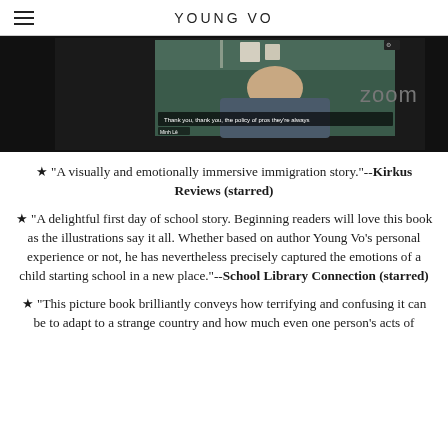YOUNG VO
[Figure (screenshot): Zoom video call screenshot showing a person on screen with text overlay 'Thank you, thank you, the policy of pros they're always' and a name tag 'Minh Lê'. The Zoom logo appears on the right side on a black background.]
★ "A visually and emotionally immersive immigration story."--Kirkus Reviews (starred)
★ "A delightful first day of school story. Beginning readers will love this book as the illustrations say it all. Whether based on author Young Vo's personal experience or not, he has nevertheless precisely captured the emotions of a child starting school in a new place."--School Library Connection (starred)
★ "This picture book brilliantly conveys how terrifying and confusing it can be to adapt to a strange country and how much even one person's acts of